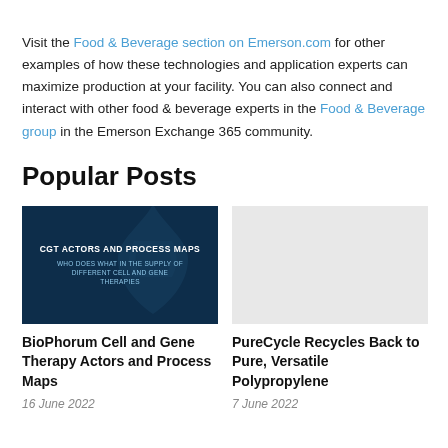Visit the Food & Beverage section on Emerson.com for other examples of how these technologies and application experts can maximize production at your facility. You can also connect and interact with other food & beverage experts in the Food & Beverage group in the Emerson Exchange 365 community.
Popular Posts
[Figure (illustration): Dark navy blue card with text 'CGT ACTORS AND PROCESS MAPS' and subtitle 'WHO DOES WHAT IN THE SUPPLY OF DIFFERENT CELL AND GENE THERAPIES' with a faint ribbon/awareness symbol in the background]
[Figure (illustration): Light gray placeholder image]
BioPhorum Cell and Gene Therapy Actors and Process Maps
16 June 2022
PureCycle Recycles Back to Pure, Versatile Polypropylene
7 June 2022